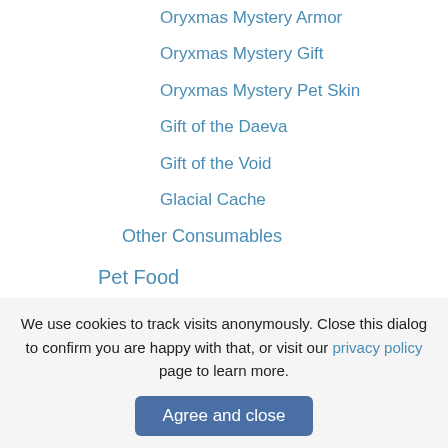Oryxmas Mystery Armor
Oryxmas Mystery Gift
Oryxmas Mystery Pet Skin
Gift of the Daeva
Gift of the Void
Glacial Cache
Other Consumables
Pet Food
Other Items
Loot Containers
Forge
Pets
The Realm
Dungeons
We use cookies to track visits anonymously. Close this dialog to confirm you are happy with that, or visit our privacy policy page to learn more.